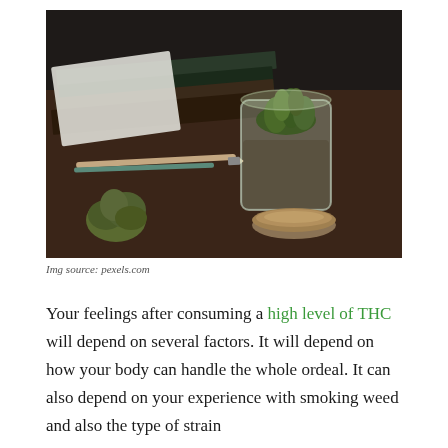[Figure (photo): A glass jar filled with cannabis/marijuana buds sitting on a desk alongside notebooks, a pencil, and a loose cannabis bud. The jar lid is open beside it. Dark moody lighting.]
Img source: pexels.com
Your feelings after consuming a high level of THC will depend on several factors. It will depend on how your body can handle the whole ordeal. It can also depend on your experience with smoking weed and also the type of strain